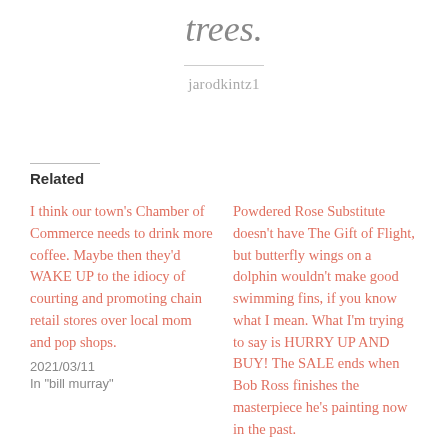trees.
jarodkintz1
Related
I think our town's Chamber of Commerce needs to drink more coffee. Maybe then they'd WAKE UP to the idiocy of courting and promoting chain retail stores over local mom and pop shops.
2021/03/11
In "bill murray"
Powdered Rose Substitute doesn't have The Gift of Flight, but butterfly wings on a dolphin wouldn't make good swimming fins, if you know what I mean. What I'm trying to say is HURRY UP AND BUY! The SALE ends when Bob Ross finishes the masterpiece he's painting now in the past.